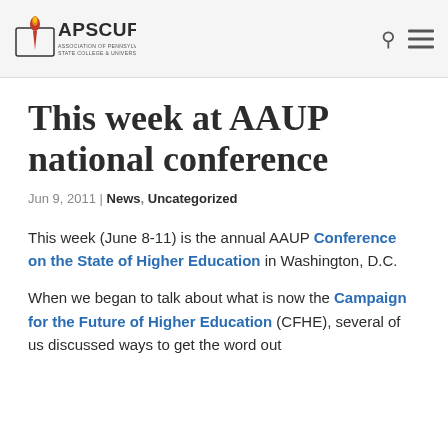[Figure (logo): APSCUF logo — Association of Pennsylvania State College & University Faculties, with torch icon]
This week at AAUP national conference
Jun 9, 2011 | News, Uncategorized
This week (June 8-11) is the annual AAUP Conference on the State of Higher Education in Washington, D.C.
When we began to talk about what is now the Campaign for the Future of Higher Education (CFHE), several of us discussed ways to get the word out